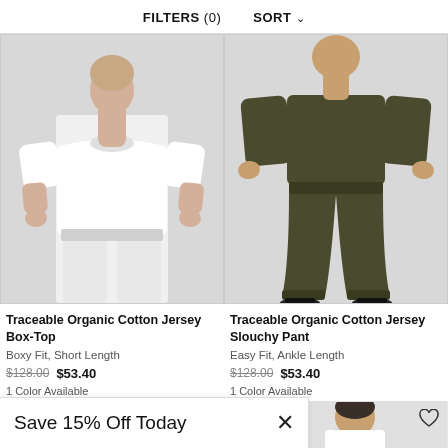FILTERS (0)   SORT
[Figure (photo): Woman wearing a white boxy short-sleeve t-shirt and white wide-leg pants, grey background, cropped at waist/torso]
[Figure (photo): Woman wearing dark olive/khaki slouchy jogger pants and a matching long-sleeve top, black sandals, grey background, cropped below shoulders to feet]
Traceable Organic Cotton Jersey Box-Top
Boxy Fit, Short Length
$128.00  $53.40
1 Color Available
Traceable Organic Cotton Jersey Slouchy Pant
Easy Fit, Ankle Length
$128.00  $53.40
1 Color Available
[Figure (photo): Partial: woman's head and shoulders visible, dark hair, P label and heart icon]
[Figure (photo): Partial: woman in white top, dark hair, P label and heart icon]
Save 15% Off Today